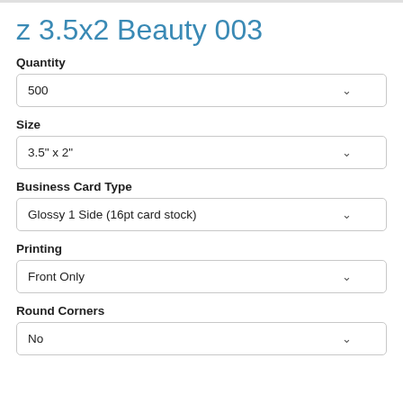z 3.5x2 Beauty 003
Quantity
500
Size
3.5" x 2"
Business Card Type
Glossy 1 Side (16pt card stock)
Printing
Front Only
Round Corners
No